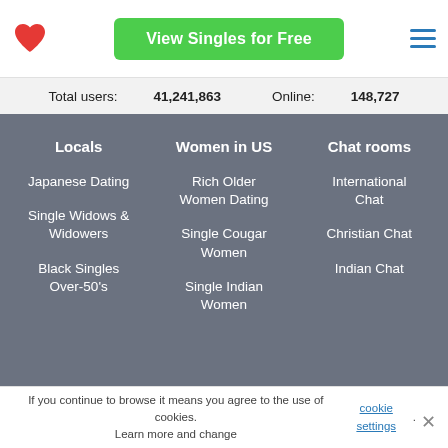View Singles for Free
Total users: 41,241,863   Online: 148,727
Locals
Japanese Dating
Single Widows & Widowers
Black Singles Over-50's
Women in US
Rich Older Women Dating
Single Cougar Women
Single Indian Women
Chat rooms
International Chat
Christian Chat
Indian Chat
If you continue to browse it means you agree to the use of cookies. Learn more and change cookie settings.